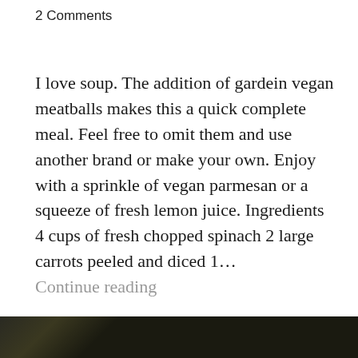2 Comments
I love soup.  The addition of gardein vegan meatballs makes this a quick complete meal.  Feel free to omit them and use another brand or make your own.  Enjoy with a sprinkle of vegan parmesan or a squeeze of fresh lemon juice. Ingredients 4 cups of fresh chopped spinach 2 large carrots peeled and diced 1... Continue reading
[Figure (photo): Bottom strip showing partial food photography, appears to show vegetables or pasta dish in warm orange/yellow tones on the right, darker content on the left.]